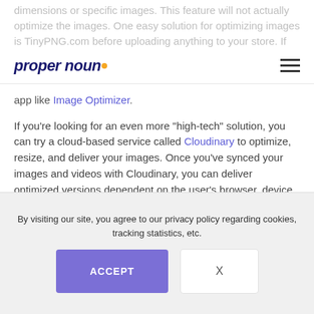dimensions or specific images. This feature will not actually optimize the images. One easy solution for optimizing images is TinyPNG.com before uploading anything to your store. If you're looking for a more seamless solution you can try a Shopify app like Image Optimizer.
[Figure (logo): Proper Noun logo with italic dark blue text and orange dot]
If you’re looking for an even more “high-tech” solution, you can try a cloud-based service called Cloudinary to optimize, resize, and deliver your images. Once you’ve synced your images and videos with Cloudinary, you can deliver optimized versions dependent on the user’s browser, device, and physical location.
By visiting our site, you agree to our privacy policy regarding cookies, tracking statistics, etc.